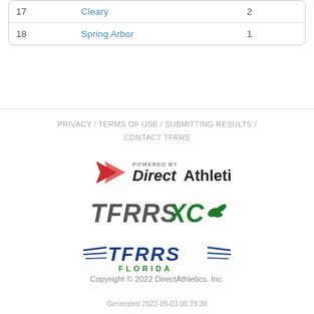| 17 | Cleary | 2 |
| 18 | Spring Arbor | 1 |
PRIVACY / TERMS OF USE / SUBMITTING RESULTS / CONTACT TFRRS
[Figure (logo): Powered by DirectAthletics logo with red chevron]
[Figure (logo): TFRRS XC logo in dark gray and green with wing]
[Figure (logo): TFRRS Florida logo in blue with wings and green Florida text]
Copyright © 2022 DirectAthletics, Inc.
Generated 2022-09-03 06:29:30